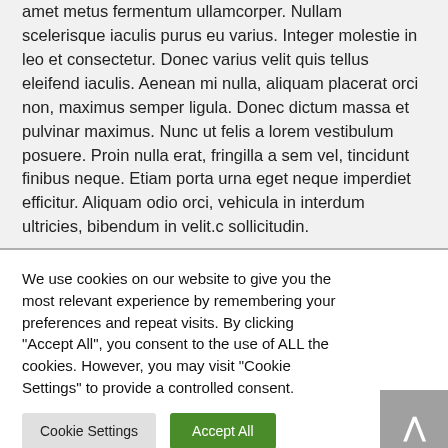amet metus fermentum ullamcorper. Nullam scelerisque iaculis purus eu varius. Integer molestie in leo et consectetur. Donec varius velit quis tellus eleifend iaculis. Aenean mi nulla, aliquam placerat orci non, maximus semper ligula. Donec dictum massa et pulvinar maximus. Nunc ut felis a lorem vestibulum posuere. Proin nulla erat, fringilla a sem vel, tincidunt finibus neque. Etiam porta urna eget neque imperdiet efficitur. Aliquam odio orci, vehicula in interdum ultricies, bibendum in velit.c sollicitudin.
We use cookies on our website to give you the most relevant experience by remembering your preferences and repeat visits. By clicking "Accept All", you consent to the use of ALL the cookies. However, you may visit "Cookie Settings" to provide a controlled consent.